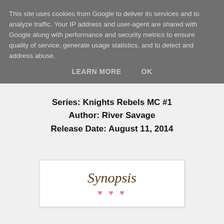This site uses cookies from Google to deliver its services and to analyze traffic. Your IP address and user-agent are shared with Google along with performance and security metrics to ensure quality of service, generate usage statistics, and to detect and address abuse.
LEARN MORE   OK
Series: Knights Rebels MC #1
Author: River Savage
Release Date: August 11, 2014
[Figure (illustration): Synopsis decorative text image with brown italic serif font and pink heart decorations below]